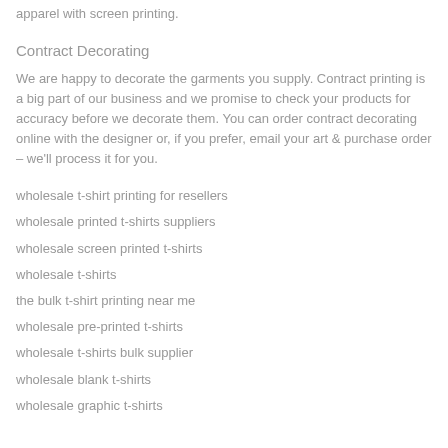apparel with screen printing.
Contract Decorating
We are happy to decorate the garments you supply. Contract printing is a big part of our business and we promise to check your products for accuracy before we decorate them. You can order contract decorating online with the designer or, if you prefer, email your art & purchase order – we'll process it for you.
wholesale t-shirt printing for resellers
wholesale printed t-shirts suppliers
wholesale screen printed t-shirts
wholesale t-shirts
the bulk t-shirt printing near me
wholesale pre-printed t-shirts
wholesale t-shirts bulk supplier
wholesale blank t-shirts
wholesale graphic t-shirts